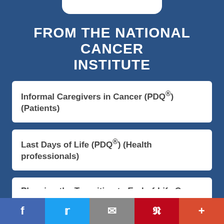FROM THE NATIONAL CANCER INSTITUTE
Informal Caregivers in Cancer (PDQ®) (Patients)
Last Days of Life (PDQ®) (Health professionals)
Planning the Transition to End-of-Life Care in Advanced Cancer (PDQ®) (Patients)